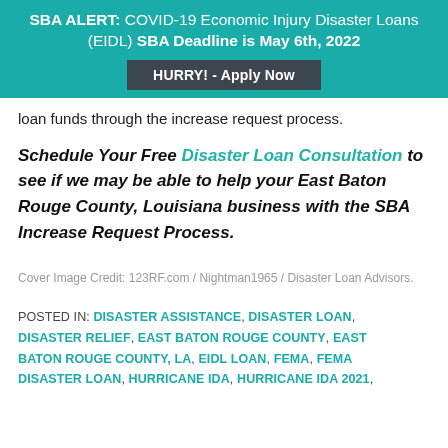SBA ALERT: COVID-19 Economic Injury Disaster Loans (EIDL) SBA Deadline is May 6th, 2022
HURRY! - Apply Now
loan funds through the increase request process.
Schedule Your Free Disaster Loan Consultation to see if we may be able to help your East Baton Rouge County, Louisiana business with the SBA Increase Request Process.
Cover Image Credit: 123RF.com / Nightman1965 / Disaster Loan Advisors.
POSTED IN: DISASTER ASSISTANCE, DISASTER LOAN, DISASTER RELIEF, EAST BATON ROUGE COUNTY, EAST BATON ROUGE COUNTY, LA, EIDL LOAN, FEMA, FEMA DISASTER LOAN, HURRICANE IDA, HURRICANE IDA 2021,